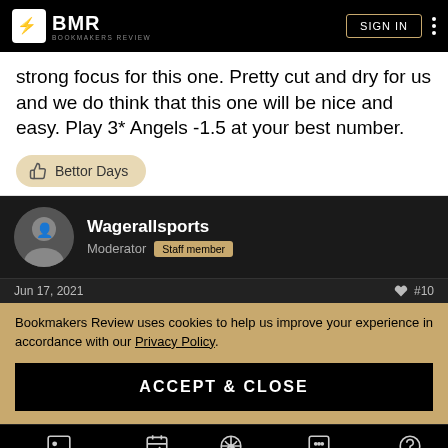BMR BOOKMAKERS REVIEW | SIGN IN
strong focus for this one. Pretty cut and dry for us and we do think that this one will be nice and easy. Play 3* Angels -1.5 at your best number.
Bettor Days
Wagerallsports
Moderator  Staff member
Jun 17, 2021  #10
Bookmakers Review uses cookies to help us improve your experience in accordance with our Privacy Policy.
ACCEPT & CLOSE
SPORTSBOOKS  TODAY  ODDS  COMMUNITY  LEARN